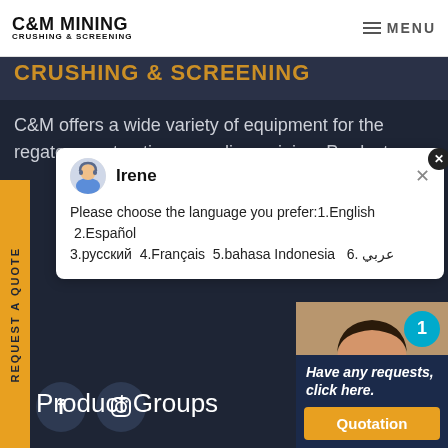C&M MINING CRUSHING & SCREENING | MENU
C&M offers a wide variety of equipment for the regate, construction, recycling, mining. Product
[Figure (screenshot): Chat popup with agent Irene showing language selection message: Please choose the language you prefer:1.English 2.Español 3.русский 4.Français 5.bahasa Indonesia 6. عربي]
[Figure (infographic): Right panel with customer service agent photo, badge circle with number 1, Have any requests click here text, and Quotation button]
[Figure (illustration): Social media icons: Facebook and Instagram circles on dark background]
Product Groups